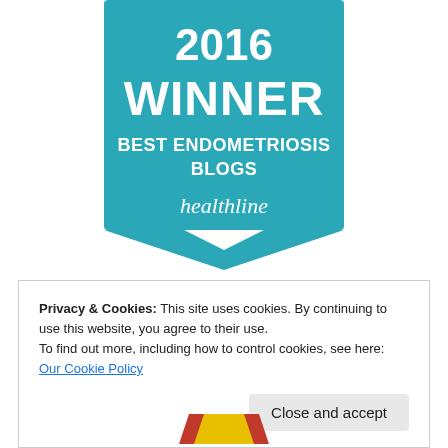[Figure (illustration): Teal ribbon/banner badge reading '2016 WINNER BEST ENDOMETRIOSIS BLOGS' with Healthline logo, pointing downward at bottom]
Privacy & Cookies: This site uses cookies. By continuing to use this website, you agree to their use.
To find out more, including how to control cookies, see here: Our Cookie Policy
Close and accept